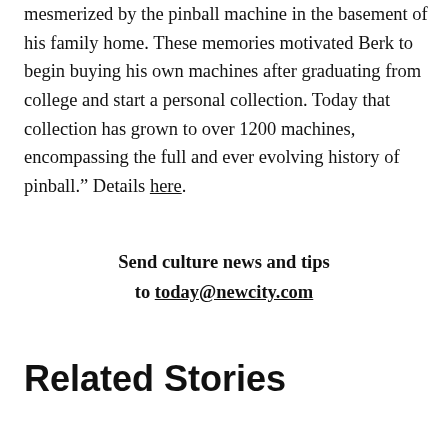mesmerized by the pinball machine in the basement of his family home. These memories motivated Berk to begin buying his own machines after graduating from college and start a personal collection. Today that collection has grown to over 1200 machines, encompassing the full and ever evolving history of pinball." Details here.
Send culture news and tips to today@newcity.com
Related Stories